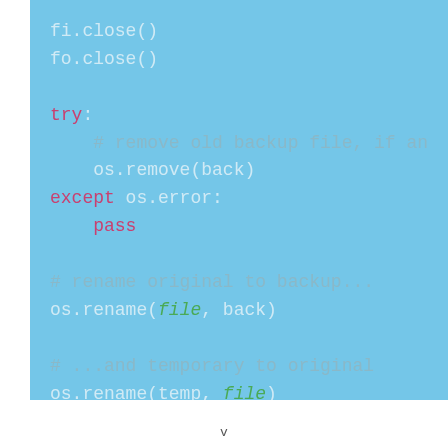[Figure (screenshot): Python code snippet on a light blue background showing file close operations, try/except block for removing backup, and os.rename calls.]
v